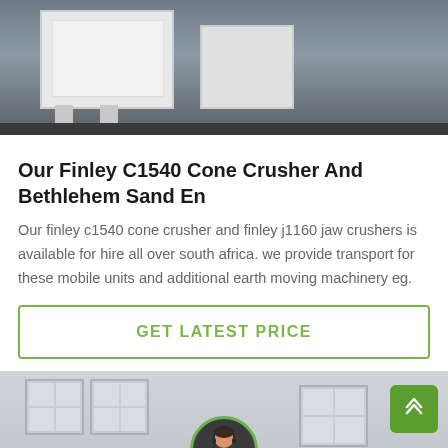[Figure (photo): Industrial machinery, likely a cone crusher or jaw crusher, white metal frame on dark floor, photographed close-up.]
Our Finley C1540 Cone Crusher And Bethlehem Sand En
Our finley c1540 cone crusher and finley j1160 jaw crushers is available for hire all over south africa. we provide transport for these mobile units and additional earth moving machinery eg.
GET LATEST PRICE
[Figure (photo): Building exterior with white-framed windows on grey walls, industrial or office building facade.]
Leave Message
Chat Online